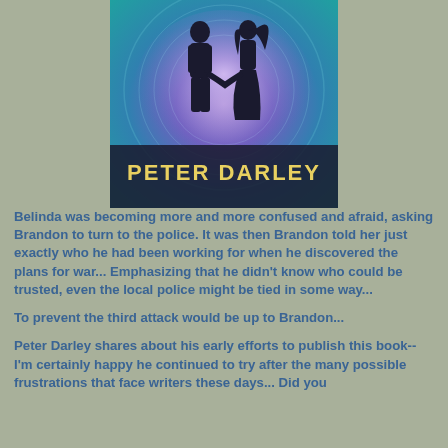[Figure (illustration): Book cover showing two silhouetted figures (a man and a woman) holding hands against a swirling colorful purple/blue/teal background with the text 'PETER DARLEY' at the bottom in gold/yellow letters.]
Belinda was becoming more and more confused and afraid, asking Brandon to turn to the police. It was then Brandon told her just exactly who he had been working for when he discovered the plans for war... Emphasizing that he didn't know who could be trusted, even the local police might be tied in some way...
To prevent the third attack would be up to Brandon...
Peter Darley shares about his early efforts to publish this book--I'm certainly happy he continued to try after the many possible frustrations that face writers these days... Did you